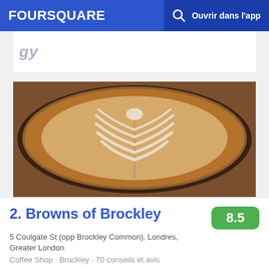FOURSQUARE  🔍  Ouvrir dans l'app
[Figure (photo): Partial top card with italic placeholder text partially visible]
[Figure (photo): Close-up photo of a latte coffee with leaf latte art in a glass cup on a wooden surface]
2. Browns of Brockley
8.5
5 Coulgate St (opp Brockley Common), Londres, Greater London
Coffee Shop · Brockley · 70 conseils et avis
Mark Ashbridge: There's the legend of a dog called Ludd. Also recently refurbished, can't wait to get back